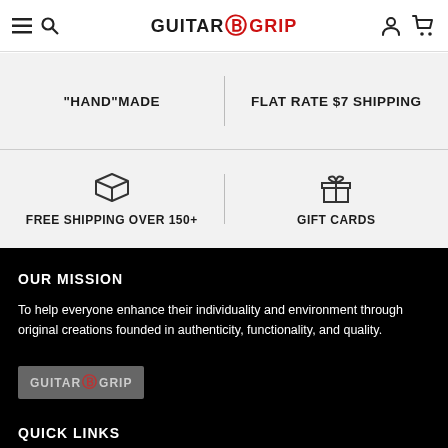GUITAR GRIP — navigation header with menu, search, account, cart icons
"HAND"MADE
FLAT RATE $7 SHIPPING
FREE SHIPPING OVER 150+
GIFT CARDS
OUR MISSION
To help everyone enhance their individuality and environment through original creations founded in authenticity, functionality, and quality.
[Figure (logo): GuitarGrip logo in grey box]
QUICK LINKS